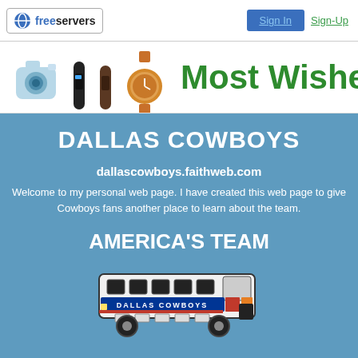freeservers | Sign In | Sign-Up
[Figure (illustration): Amazon advertisement banner showing camera, fitness trackers, and watch products with text 'Most Wished Fo' (cropped)]
DALLAS COWBOYS
dallascowboys.faithweb.com
Welcome to my personal web page. I have created this web page to give Cowboys fans another place to learn about the team.
AMERICA'S TEAM
[Figure (illustration): Illustrated Dallas Cowboys team bus with 'DALLAS COWBOYS' text on the side]